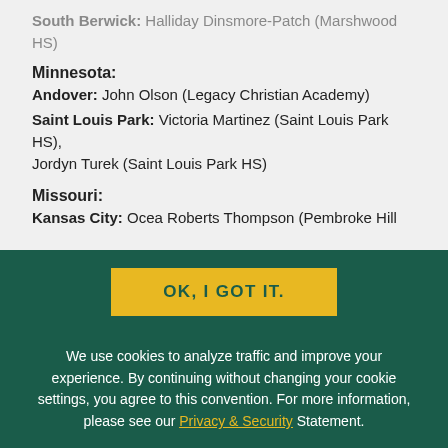South Berwick: Halliday Dinsmore-Patch (Marshwood HS)
Minnesota:
Andover: John Olson (Legacy Christian Academy)
Saint Louis Park: Victoria Martinez (Saint Louis Park HS), Jordyn Turek (Saint Louis Park HS)
Missouri:
Kansas City: Ocea Roberts Thompson (Pembroke Hill
OK, I GOT IT.
We use cookies to analyze traffic and improve your experience. By continuing without changing your cookie settings, you agree to this convention. For more information, please see our Privacy & Security Statement.